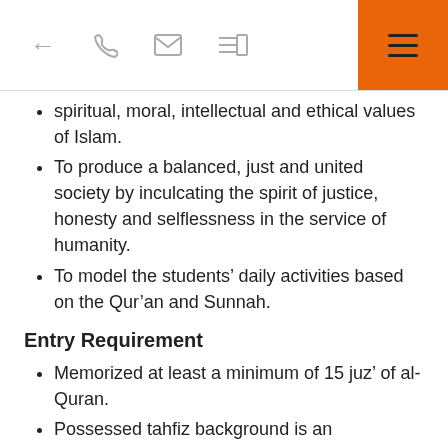← ✆ ✉ ≡□ ≡
spiritual, moral, intellectual and ethical values of Islam.
To produce a balanced, just and united society by inculcating the spirit of justice, honesty and selflessness in the service of humanity.
To model the students' daily activities based on the Qur'an and Sunnah.
Entry Requirement
Memorized at least a minimum of 15 juz' of al-Quran.
Possessed tahfiz background is an advantage.
Passed the interview.